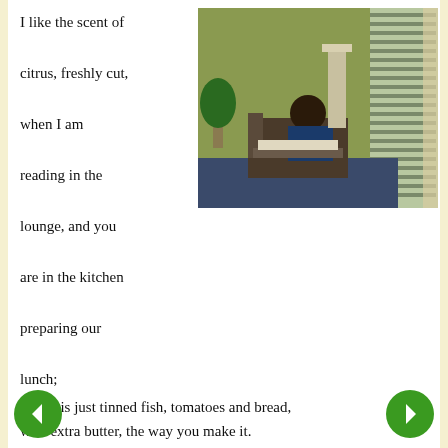I like the scent of citrus, freshly cut, when I am reading in the lounge, and you are in the kitchen preparing our lunch;
[Figure (photo): A person reclining on a chair in a dimly lit room with a window with venetian blinds on the right side. There is a table with newspapers in front and a plant in the background.]
which is just tinned fish, tomatoes and bread, with extra butter, the way you make it.

I like the sound of ice, in a glass cup, when you bring me fruit juice and Panadol, to ease the high fever I am running; which is malarial of course, and bad, but you make it alright to be unwell.